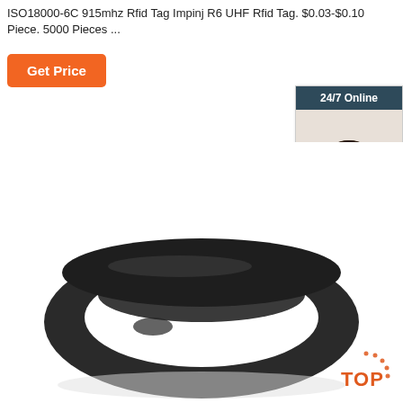ISO18000-6C 915mhz Rfid Tag Impinj R6 UHF Rfid Tag. $0.03-$0.10 Piece. 5000 Pieces ...
Get Price
[Figure (photo): Customer service representative with headset, smiling, used in 24/7 online chat widget]
24/7 Online
Click here for free chat !
QUOTATION
[Figure (photo): Black RFID silicone wristband/bracelet product photo on white background]
[Figure (logo): TOP logo with dotted arc design in orange/red]